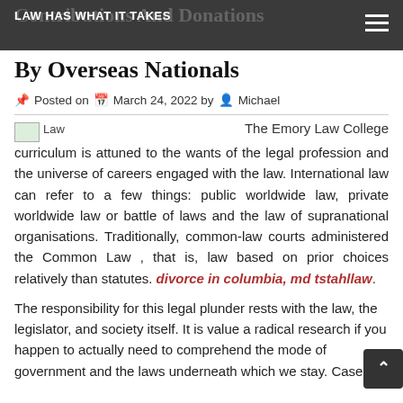LAW HAS WHAT IT TAKES
Contributions And Donations By Overseas Nationals
Posted on March 24, 2022 by Michael
[Figure (illustration): Small broken image placeholder labeled 'Law']
The Emory Law College curriculum is attuned to the wants of the legal profession and the universe of careers engaged with the law. International law can refer to a few things: public worldwide law, private worldwide law or battle of laws and the law of supranational organisations. Traditionally, common-law courts administered the Common Law , that is, law based on prior choices relatively than statutes. divorce in columbia, md tstahllaw.
The responsibility for this legal plunder rests with the law, the legislator, and society itself. It is value a radical research if you happen to actually need to comprehend the mode of government and the laws underneath which we stay. Case law